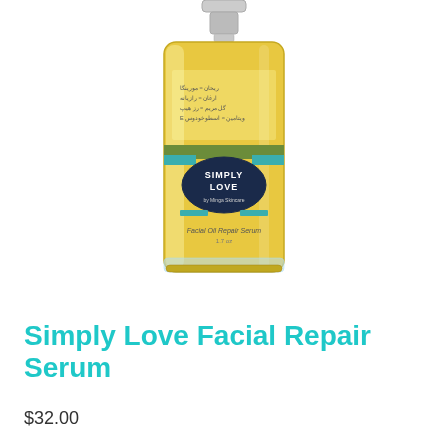[Figure (photo): A glass bottle of Simply Love Facial Oil Repair Serum with a silver pump cap. The bottle contains golden/yellow oil and has a label featuring the Simply Love brand name in an oval dark blue badge, teal accent bands, and ingredient text. The bottle sits on a white background.]
Simply Love Facial Repair Serum
$32.00